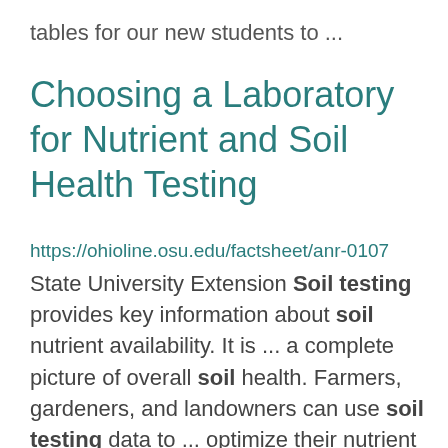tables for our new students to ...
Choosing a Laboratory for Nutrient and Soil Health Testing
https://ohioline.osu.edu/factsheet/anr-0107
State University Extension Soil testing provides key information about soil nutrient availability. It is ... a complete picture of overall soil health. Farmers, gardeners, and landowners can use soil testing data to ... optimize their nutrient management plans. Implementing recommendations based on soil test data prevents ...